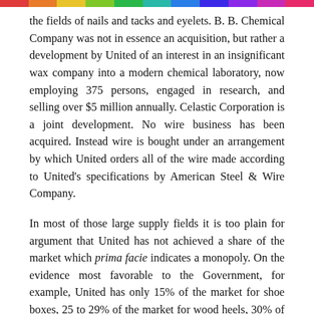the fields of nails and tacks and eyelets. B. B. Chemical Company was not in essence an acquisition, but rather a development by United of an interest in an insignificant wax company into a modern chemical laboratory, now employing 375 persons, engaged in research, and selling over $5 million annually. Celastic Corporation is a joint development. No wire business has been acquired. Instead wire is bought under an arrangement by which United orders all of the wire made according to United's specifications by American Steel & Wire Company.
In most of those large supply fields it is too plain for argument that United has not achieved a share of the market which prima facie indicates a monopoly. On the evidence most favorable to the Government, for example, United has only 15% of the market for shoe boxes, 25 to 29% of the market for wood heels, 30% of the market for lasts, perhaps 49% of the market for all shanks.